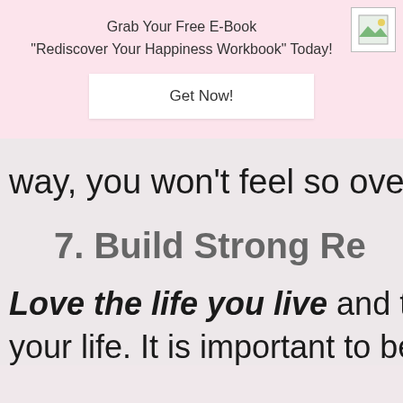[Figure (other): Small image icon in top right corner of pink banner]
Grab Your Free E-Book
"Rediscover Your Happiness Workbook" Today!
Get Now!
way, you won't feel so overwh
7. Build Strong Re
Love the life you live and the
your life. It is important to be l